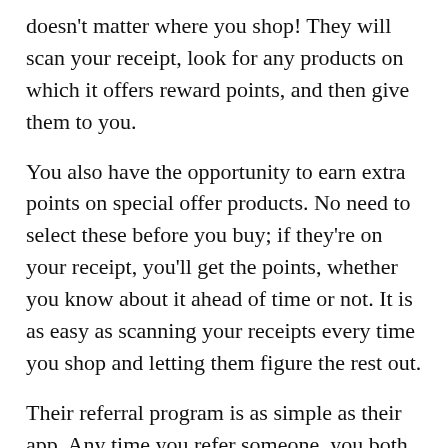doesn't matter where you shop! They will scan your receipt, look for any products on which it offers reward points, and then give them to you.
You also have the opportunity to earn extra points on special offer products. No need to select these before you buy; if they're on your receipt, you'll get the points, whether you know about it ahead of time or not. It is as easy as scanning your receipts every time you shop and letting them figure the rest out.
Their referral program is as simple as their app. Any time you refer someone, you both get 2,000 points after your referral scans their first receipt. There are no limits to the number of referrals you can make.